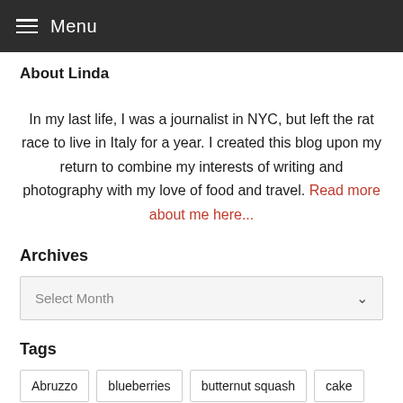Menu
About Linda
In my last life, I was a journalist in NYC, but left the rat race to live in Italy for a year. I created this blog upon my return to combine my interests of writing and photography with my love of food and travel. Read more about me here...
Archives
Select Month
Tags
Abruzzo
blueberries
butternut squash
cake